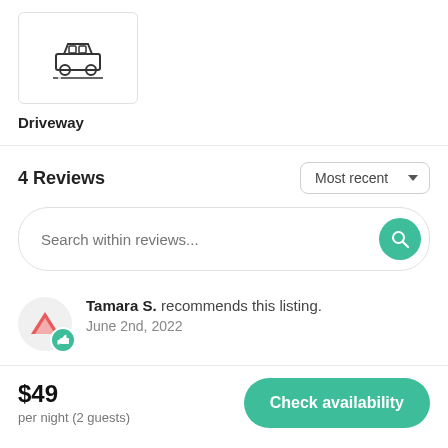[Figure (illustration): Car/driveway icon inside a white box with light border]
Driveway
4 Reviews
Search within reviews...
Tamara S. recommends this listing. June 2nd, 2022
$49 per night (2 guests)
Check availability